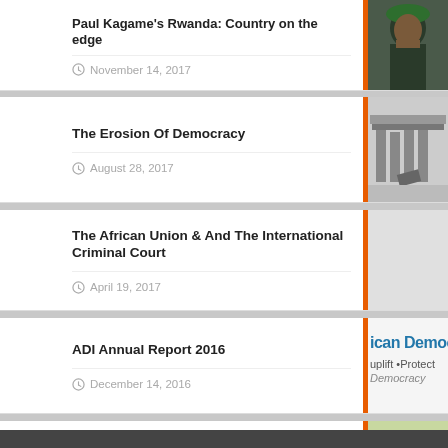Paul Kagame's Rwanda: Country on the edge — November 14, 2017
The Erosion Of Democracy — August 28, 2017
The African Union & And The International Criminal Court — April 19, 2017
ADI Annual Report 2016 — December 14, 2016
Electoral Processes and Democratization: The Role of Election Monitoring Bodies in Africa — July 12, 2016